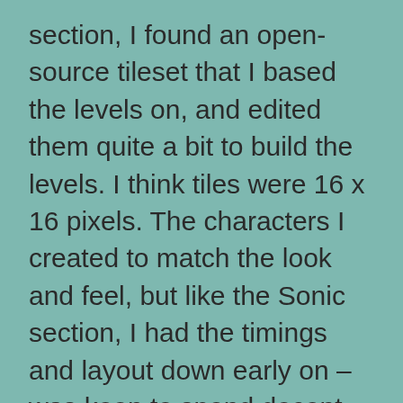section, I found an open-source tileset that I based the levels on, and edited them quite a bit to build the levels. I think tiles were 16 x 16 pixels. The characters I created to match the look and feel, but like the Sonic section, I had the timings and layout down early on – was keen to spend decent time on the animatic to make sure I knew where I was heading with all of this. And then cleaned things up a bit for file naming and such in Photoshop, before bringing into Toon Boom Harmony to move stuff around, sequence the sprites, add a camera etc. Then, for final, I export each shot as a TGA sequence for compositing or editing